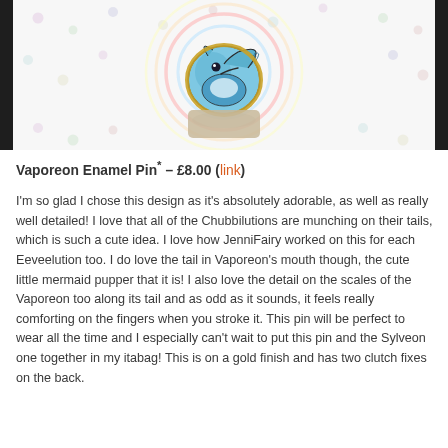[Figure (photo): Photo of a Vaporeon enamel pin on a polka dot card backing. The pin shows a blue Vaporeon (Pokemon) character in a chibi style, munching on its tail. The pin has gold metalwork details. The background card is white with colorful pastel dots arranged in a circular rainbow pattern. The photo has a dark wooden surface visible on the left and right edges.]
Vaporeon Enamel Pin* – £8.00 (link)
I'm so glad I chose this design as it's absolutely adorable, as well as really well detailed! I love that all of the Chubbilutions are munching on their tails, which is such a cute idea. I love how JenniFairy worked on this for each Eeveelution too. I do love the tail in Vaporeon's mouth though, the cute little mermaid pupper that it is! I also love the detail on the scales of the Vaporeon too along its tail and as odd as it sounds, it feels really comforting on the fingers when you stroke it. This pin will be perfect to wear all the time and I especially can't wait to put this pin and the Sylveon one together in my itabag! This is on a gold finish and has two clutch fixes on the back.